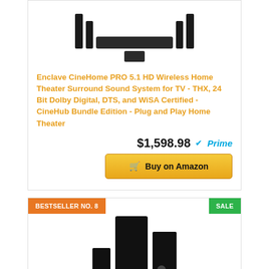[Figure (photo): Home theater surround sound speaker system with soundbar, subwoofer, and satellite speakers]
Enclave CineHome PRO 5.1 HD Wireless Home Theater Surround Sound System for TV - THX, 24 Bit Dolby Digital, DTS, and WiSA Certified - CineHub Bundle Edition - Plug and Play Home Theater
$1,598.98 Prime
Buy on Amazon
BESTSELLER NO. 8
SALE
[Figure (photo): Home theater speaker system with tall tower speaker and subwoofer]